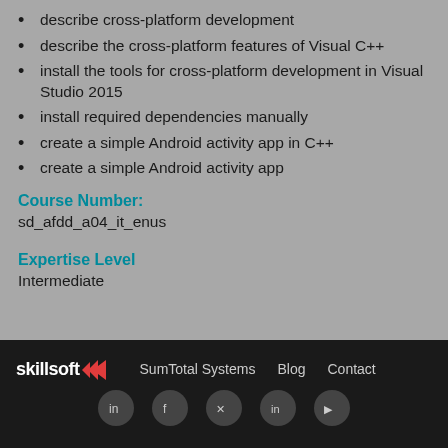describe cross-platform development
describe the cross-platform features of Visual C++
install the tools for cross-platform development in Visual Studio 2015
install required dependencies manually
create a simple Android activity app in C++
create a simple Android activity app
Course Number:
sd_afdd_a04_it_enus
Expertise Level
Intermediate
skillsoft  SumTotal Systems  Blog  Contact